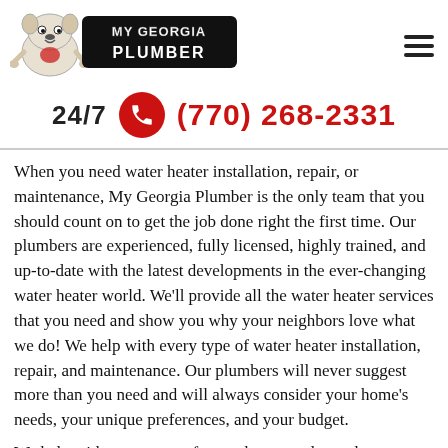[Figure (logo): My Georgia Plumber logo with bulldog mascot and bold stylized text]
24/7  (770) 268-2331
When you need water heater installation, repair, or maintenance, My Georgia Plumber is the only team that you should count on to get the job done right the first time. Our plumbers are experienced, fully licensed, highly trained, and up-to-date with the latest developments in the ever-changing water heater world. We’ll provide all the water heater services that you need and show you why your neighbors love what we do! We help with every type of water heater installation, repair, and maintenance. Our plumbers will never suggest more than you need and will always consider your home’s needs, your unique preferences, and your budget.